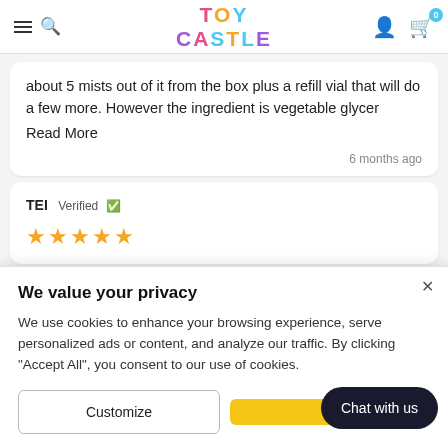TOY CASTLE
about 5 mists out of it from the box plus a refill vial that will do a few more. However the ingredient is vegetable glycer
Read More
6 months ago
TEI Verified ✓
★★★★★
We value your privacy
We use cookies to enhance your browsing experience, serve personalized ads or content, and analyze our traffic. By clicking "Accept All", you consent to our use of cookies.
Customize
Chat with us